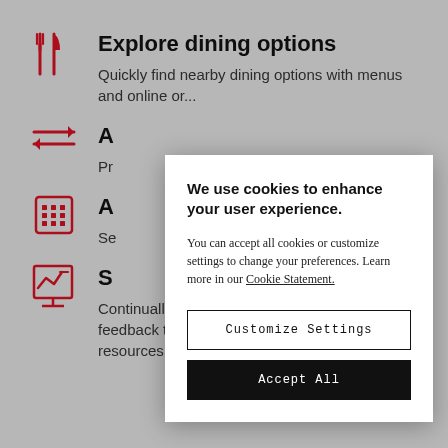[Figure (illustration): Red fork and knife utensils icon]
Explore dining options
Quickly find nearby dining options with menus and online or...
[Figure (illustration): Red double arrow icon (left-right arrows)]
A...
Pr... entry th...
[Figure (illustration): Red grid/keypad icon]
A...
Se... ile use ar...
[Figure (illustration): Red presentation chart/graph icon]
S...
Continually collect and track tenant or employee feedback to identify the right amenities and resources
We use cookies to enhance your user experience. You can accept all cookies or customize settings to change your preferences. Learn more in our Cookie Statement.
Customize Settings
Accept All